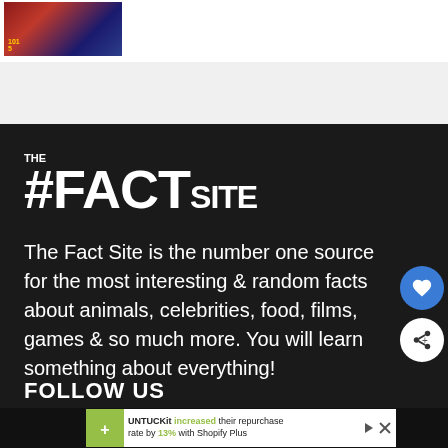[Figure (photo): Thumbnail image with dark red and blue tones, appears to be a game or media screenshot]
[Figure (logo): The #FACTsite logo in white on dark background, with THE in small text above #FACT in large bold and SITE in smaller bold]
The Fact Site is the number one source for the most interesting & random facts about animals, celebrities, food, films, games & so much more. You will learn something about everything!
FOLLOW US
[Figure (screenshot): Advertisement: UNTUCKit increased their repurchase rate by 13% with Shopify Plus, with Shopify bag icon and play/close controls]